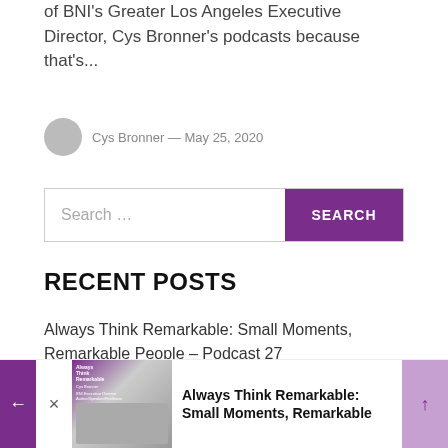of BNI's Greater Los Angeles Executive Director, Cys Bronner's podcasts because that's...
Cys Bronner — May 25, 2020
Search ...
RECENT POSTS
Always Think Remarkable: Small Moments, Remarkable People – Podcast 27
Create Community with Jas Clinic, BNI Gold Counter Review...
[Figure (screenshot): Bottom notification bar showing a book thumbnail with purple cover, close button, and text: Always Think Remarkable: Small Moments, Remarkable]